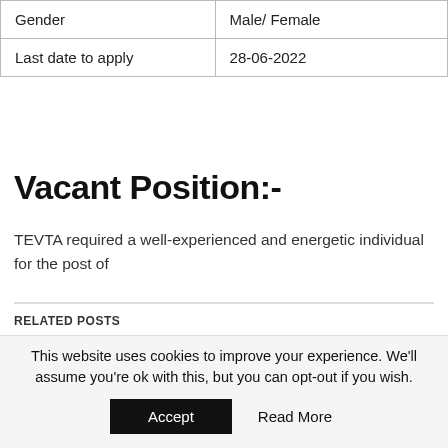| Gender | Male/ Female |
| Last date to apply | 28-06-2022 |
Vacant Position:-
TEVTA required a well-experienced and energetic individual for the post of
RELATED POSTS
Ministry of Defence (MoD) Latest August Jobs 2022
This website uses cookies to improve your experience. We'll assume you're ok with this, but you can opt-out if you wish.